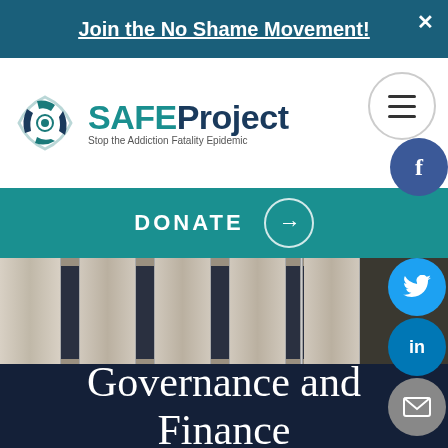Join the No Shame Movement!
[Figure (logo): SAFEProject logo with stylized shield icon and text 'SAFEProject — Stop the Addiction Fatality Epidemic']
[Figure (infographic): Hamburger menu icon in circle, labeled MENU, with Facebook circle button overlapping]
DONATE →
[Figure (photo): Government building columns and windows in background]
[Figure (infographic): Social media floating buttons: Twitter, LinkedIn, Email]
Governance and Finance